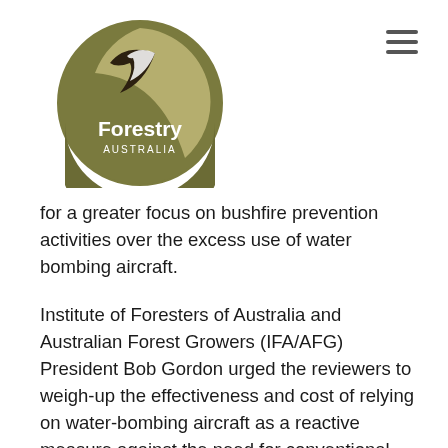[Figure (logo): Forestry Australia circular logo with a leaf/bird design in olive green and brown tones, with 'Forestry AUSTRALIA' text]
for a greater focus on bushfire prevention activities over the excess use of water bombing aircraft.
Institute of Foresters of Australia and Australian Forest Growers (IFA/AFG) President Bob Gordon urged the reviewers to weigh-up the effectiveness and cost of relying on water-bombing aircraft as a reactive measure against the need for conventional wildfire responses and enhanced year-round prevention activities.
“Worryingly, this Fraser Island Fire illustrates a